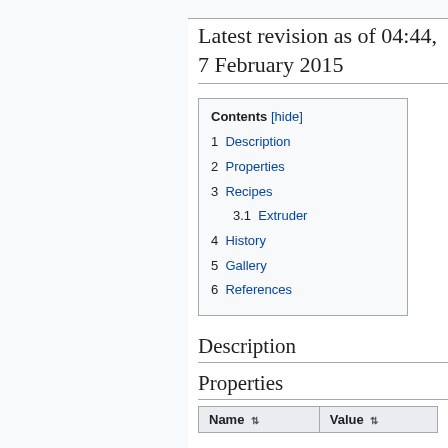Latest revision as of 04:44, 7 February 2015
1 Description
2 Properties
3 Recipes
3.1 Extruder
4 History
5 Gallery
6 References
Description
Properties
| Name | Value |
| --- | --- |